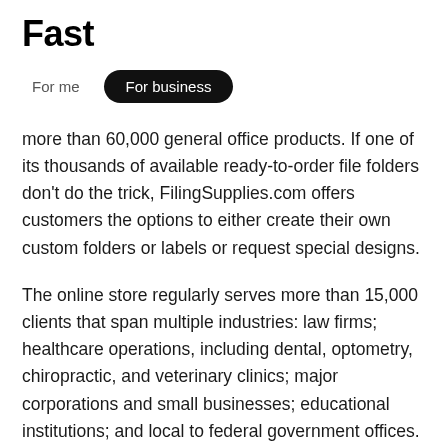Fast
For me   For business
more than 60,000 general office products. If one of its thousands of available ready-to-order file folders don't do the trick, FilingSupplies.com offers customers the options to either create their own custom folders or labels or request special designs.
The online store regularly serves more than 15,000 clients that span multiple industries: law firms; healthcare operations, including dental, optometry, chiropractic, and veterinary clinics; major corporations and small businesses; educational institutions; and local to federal government offices.